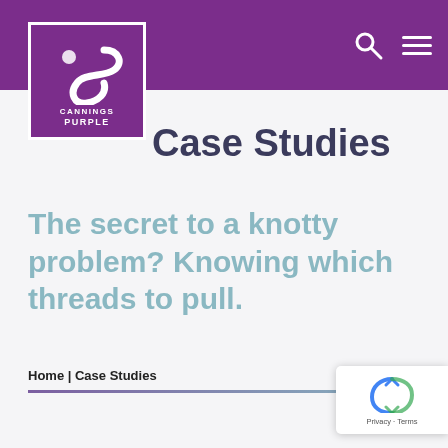Cannings Purple — Navigation bar with search and menu icons
[Figure (logo): Cannings Purple logo — purple square with white swirl/S-shape graphic and text 'CANNINGS PURPLE']
Case Studies
The secret to a knotty problem? Knowing which threads to pull.
Home | Case Studies
[Figure (logo): Google reCAPTCHA badge with refresh icon and 'Privacy - Terms' text]